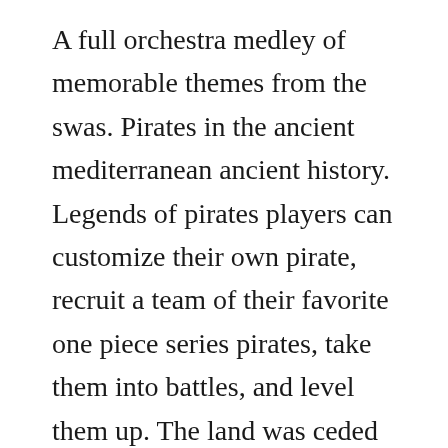A full orchestra medley of memorable themes from the swas. Pirates in the ancient mediterranean ancient history. Legends of pirates players can customize their own pirate, recruit a team of their favorite one piece series pirates, take them into battles, and level them up. The land was ceded to the city of paris by the emperor napoleon iii to be turned into a public park in 1852 it is the secondlargest park in paris, slightly smaller than the. If they could sink the lighter armed oilers, troop ships, and merchant vessels, they could force